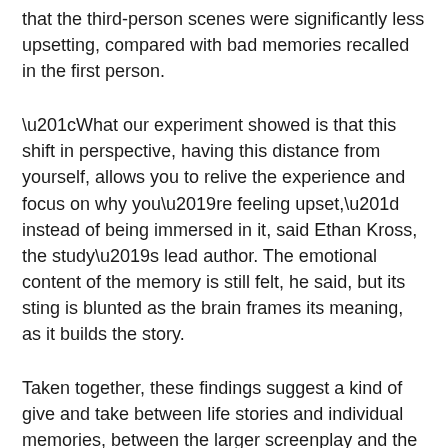that the third-person scenes were significantly less upsetting, compared with bad memories recalled in the first person.
“What our experiment showed is that this shift in perspective, having this distance from yourself, allows you to relive the experience and focus on why you’re feeling upset,” instead of being immersed in it, said Ethan Kross, the study’s lead author. The emotional content of the memory is still felt, he said, but its sting is blunted as the brain frames its meaning, as it builds the story.
Taken together, these findings suggest a kind of give and take between life stories and individual memories, between the larger screenplay and the individual scenes. The way people replay and recast memories, day by day, deepens and reshapes their larger life story. And as it evolves, that larger story in turn colors the interpretation of the scenes.